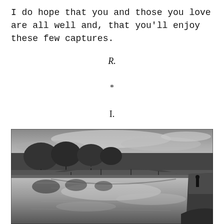I do hope that you and those you love are all well and, that you'll enjoy these few captures.
R.
*
I.
[Figure (photo): Black and white photograph of a river scene with a stone arch bridge in the background, bare winter trees lining the banks, and calm water reflecting the cloudy sky. A person stands on the right bank near the water's edge.]